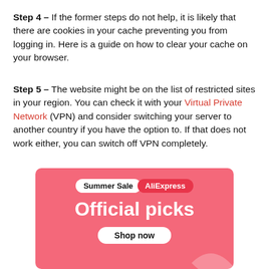Step 4 – If the former steps do not help, it is likely that there are cookies in your cache preventing you from logging in. Here is a guide on how to clear your cache on your browser.
Step 5 – The website might be on the list of restricted sites in your region. You can check it with your Virtual Private Network (VPN) and consider switching your server to another country if you have the option to. If that does not work either, you can switch off VPN completely.
[Figure (other): AliExpress Summer Sale advertisement banner with pink background showing 'Summer Sale | AliExpress' pill buttons, 'Official picks' text, and 'Shop now' button]